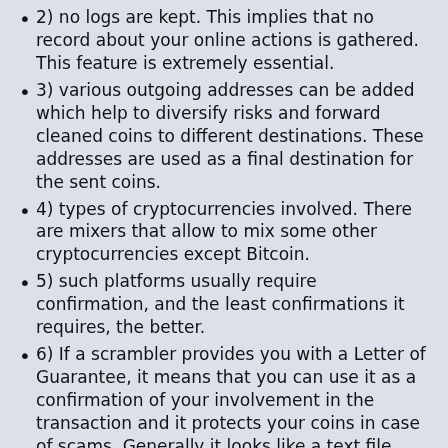2) no logs are kept. This implies that no record about your online actions is gathered. This feature is extremely essential.
3) various outgoing addresses can be added which help to diversify risks and forward cleaned coins to different destinations. These addresses are used as a final destination for the sent coins.
4) types of cryptocurrencies involved. There are mixers that allow to mix some other cryptocurrencies except Bitcoin.
5) such platforms usually require confirmation, and the least confirmations it requires, the better.
6) If a scrambler provides you with a Letter of Guarantee, it means that you can use it as a confirmation of your involvement in the transaction and it protects your coins in case of scams. Generally it looks like a text file digitally signed using PGP technology. The defined options are crucial to choose which cryptocurrency mixing service to use. There are some more features that also need to be pointed out and all of them are added into the below table of the top mixing services.